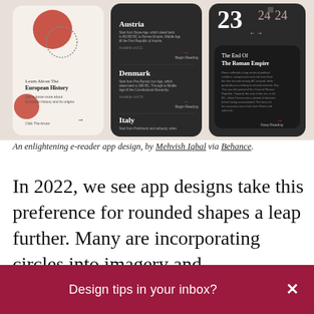[Figure (screenshot): Screenshot of an e-reader app design showing three mobile screens with European History content — cards for Austria, Denmark, Italy and 'The End Of The Roman Empire' on dark and light backgrounds with red geometric shapes.]
An enlightening e-reader app design, by Mehvish Iqbal via Behance.
In 2022, we see app designs take this preference for rounded shapes a leap further. Many are incorporating circles into imagery and backgrounds. They lean into the abstract,
Design tips in your inbox?